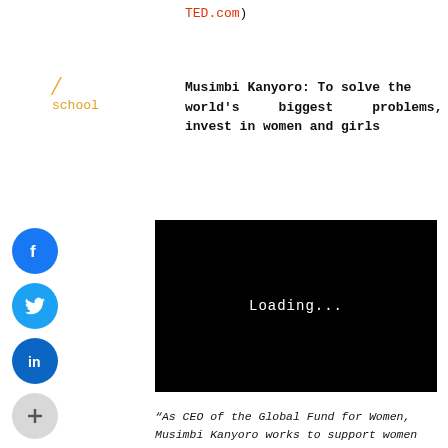TED.com)
Musimbi Kanyoro: To solve the world's biggest problems, invest in women and girls
[Figure (screenshot): Black video player placeholder showing 'Loading...' text]
“As CEO of the Global Fund for Women, Musimbi Kanyoro works to support women and their ideas so they can expand and grow. She introduces us to the Maragoli concept of ‘isirika’ –